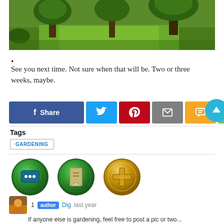[Figure (photo): Green park scene with trees and grass lawn]
.
See you next time. Not sure when that will be. Two or three weeks, maybe.
[Figure (infographic): Social sharing buttons: Facebook Share, Twitter, Pinterest, Email, SMS, Share]
Tags
GARDENING
[Figure (illustration): Three app/game icons: green chat bubble icon, green bookmark icon, gold plus/cross medal icon]
1  author  Dig  last year
If anyone else is gardening, feel free to post a pic or two...